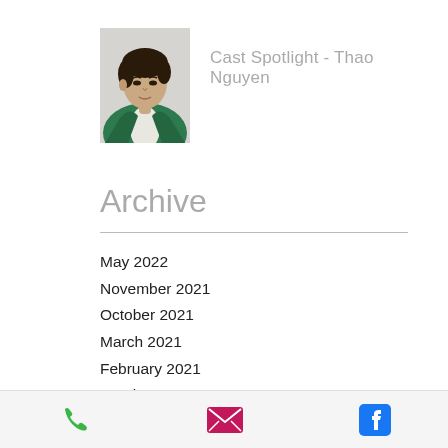[Figure (photo): Profile photo of Thao Nguyen wearing a green blazer and white shirt, against a light gray background]
Cast Spotlight - Thao Nguyen
Archive
May 2022
November 2021
October 2021
March 2021
February 2021
October 2020
November 2019
October 2019
[Figure (infographic): Bottom action bar with phone (green), email (magenta), and Facebook (blue) icons]